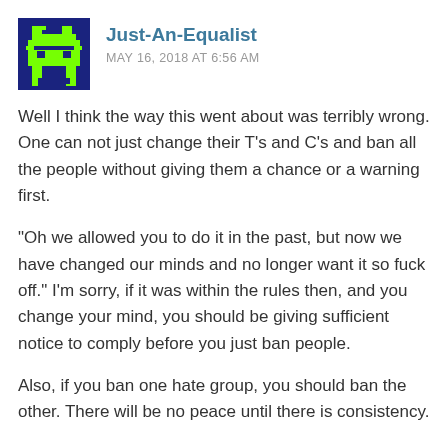Just-An-Equalist
MAY 16, 2018 AT 6:56 AM
Well I think the way this went about was terribly wrong. One can not just change their T's and C's and ban all the people without giving them a chance or a warning first.
“Oh we allowed you to do it in the past, but now we have changed our minds and no longer want it so fuck off.” I’m sorry, if it was within the rules then, and you change your mind, you should be giving sufficient notice to comply before you just ban people.
Also, if you ban one hate group, you should ban the other. There will be no peace until there is consistency.
REPLY
REEE A NUHTZEEEE